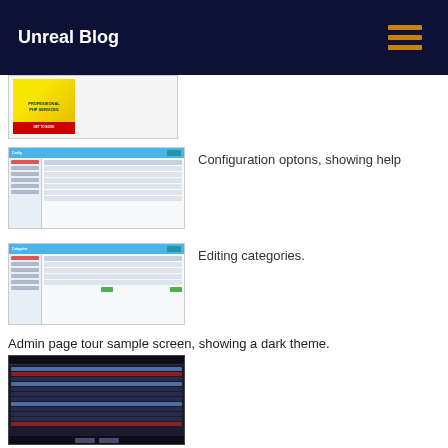Unreal Blog
[Figure (screenshot): Partial screenshot showing a book cover for Professional PHP Services]
[Figure (screenshot): Configuration options panel showing help, admin UI with blue top bar and sidebar]
Configuration optons, showing help
[Figure (screenshot): Editing categories screen showing list of categories with green edit buttons]
Editing categories.
Admin page tour sample screen, showing a dark theme.
[Figure (screenshot): Admin page with dark theme showing text content and navigation buttons at bottom]